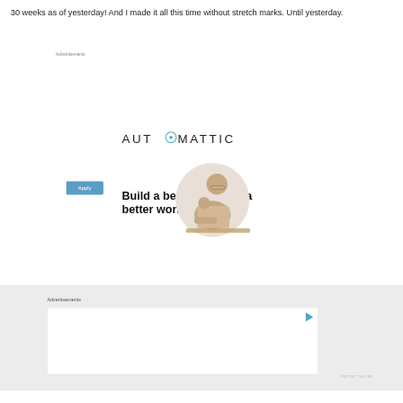30 weeks as of yesterday!  And I made it all this time without stretch marks.  Until yesterday.
Advertisements
[Figure (infographic): Automattic advertisement: logo at top, bold headline 'Build a better web and a better world.', blue Apply button, and a circular photo of a man thinking at a desk.]
REPORT THIS AD
Advertisements
[Figure (other): Second advertisement box with a play/video icon in the top right corner.]
REPORT THIS AD